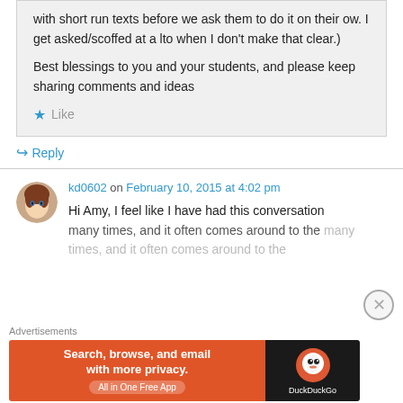with short run texts before we ask them to do it on their ow. I get asked/scoffed at a lto when I don't make that clear.)
Best blessings to you and your students, and please keep sharing comments and ideas
★ Like
↪ Reply
kd0602 on February 10, 2015 at 4:02 pm
Hi Amy, I feel like I have had this conversation many times, and it often comes around to the
Advertisements
[Figure (screenshot): DuckDuckGo advertisement banner: orange left side with text 'Search, browse, and email with more privacy. All in One Free App' and dark right side with DuckDuckGo logo]